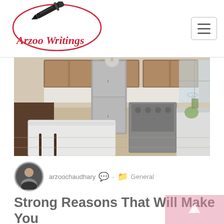Arzoo Writings
[Figure (logo): Arzoo Writings logo with pen nib inside an oval and cursive red text]
[Figure (photo): Modern kitchen interior with wood cabinets, stainless steel appliances, island with white countertop, hardwood floors]
arzoochaudhary · General
Strong Reasons That Will Make You Fall for Walnut Kitchen Cabinets